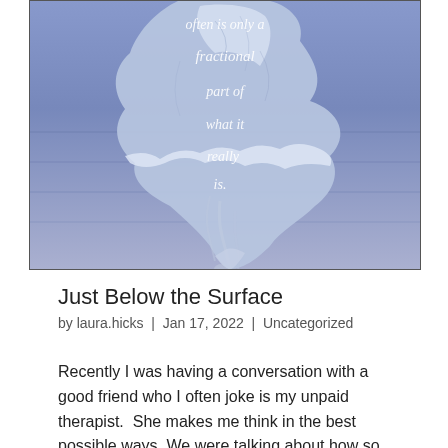[Figure (illustration): An iceberg submerged in blue-purple water with white text overlay reading 'often is only a fractional part of what it really is.' — illustrating the iceberg metaphor.]
Just Below the Surface
by laura.hicks  |  Jan 17, 2022  |  Uncategorized
Recently I was having a conversation with a good friend who I often joke is my unpaid therapist.  She makes me think in the best possible ways. We were talking about how so many things in life feel so